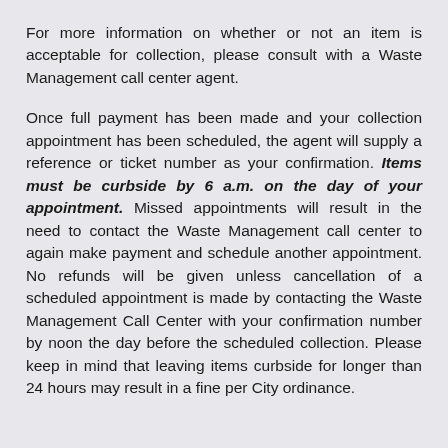For more information on whether or not an item is acceptable for collection, please consult with a Waste Management call center agent.
Once full payment has been made and your collection appointment has been scheduled, the agent will supply a reference or ticket number as your confirmation. Items must be curbside by 6 a.m. on the day of your appointment. Missed appointments will result in the need to contact the Waste Management call center to again make payment and schedule another appointment. No refunds will be given unless cancellation of a scheduled appointment is made by contacting the Waste Management Call Center with your confirmation number by noon the day before the scheduled collection. Please keep in mind that leaving items curbside for longer than 24 hours may result in a fine per City ordinance.